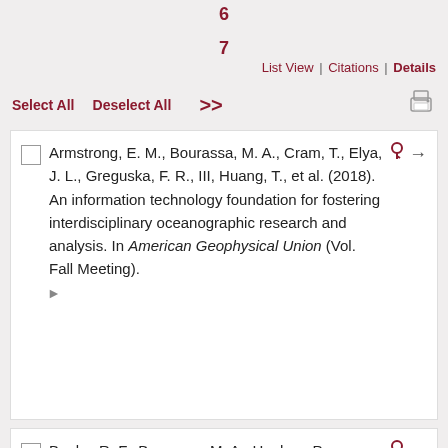6
7
List View | Citations | Details
Select All  Deselect All  >>
[print icon]
Armstrong, E. M., Bourassa, M. A., Cram, T., Elya, J. L., Greguska, F. R., III, Huang, T., et al. (2018). An information technology foundation for fostering interdisciplinary oceanographic research and analysis. In American Geophysical Union (Vol. Fall Meeting).
Banks, R. F., Bourassa, M. A., Hughes, P., O'Brien, J. J., & Smith, S. R. (2006). Variability of surface turbulent fluxes over the Indian Ocean. In 14th Conference on